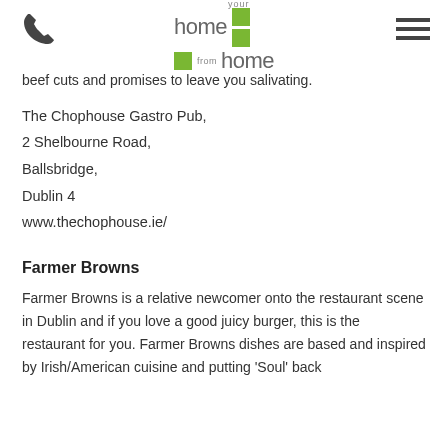your home from home
beef cuts and promises to leave you salivating.
The Chophouse Gastro Pub,
2 Shelbourne Road,
Ballsbridge,
Dublin 4
www.thechophouse.ie/
Farmer Browns
Farmer Browns is a relative newcomer onto the restaurant scene in Dublin and if you love a good juicy burger, this is the restaurant for you. Farmer Browns dishes are based and inspired by Irish/American cuisine and putting 'Soul' back